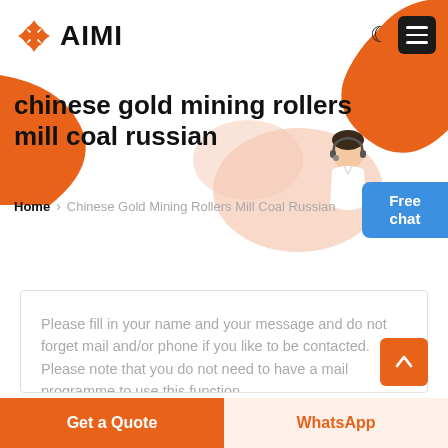AIMI
chinese gold mining rollers mill coal russian
Home > Chinese Gold Mining Rollers Mill Coal Russian
Free chat
Please fill in your name and your message and do not forget mail and/or phone if you like to be contacted. Please note that you do not need to have a mail programme to use this function.
Get a Quote
WhatsApp